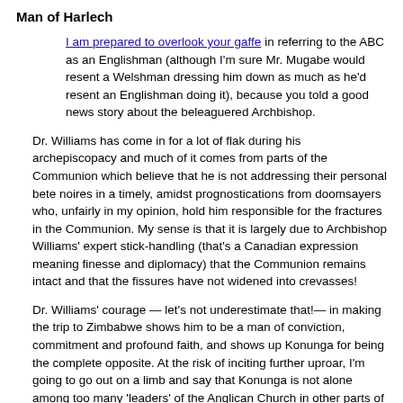Man of Harlech
I am prepared to overlook your gaffe in referring to the ABC as an Englishman (although I'm sure Mr. Mugabe would resent a Welshman dressing him down as much as he'd resent an Englishman doing it), because you told a good news story about the beleaguered Archbishop.
Dr. Williams has come in for a lot of flak during his archepiscopacy and much of it comes from parts of the Communion which believe that he is not addressing their personal bete noires in a timely, amidst prognostications from doomsayers who, unfairly in my opinion, hold him responsible for the fractures in the Communion. My sense is that it is largely due to Archbishop Williams' expert stick-handling (that's a Canadian expression meaning finesse and diplomacy) that the Communion remains intact and that the fissures have not widened into crevasses!
Dr. Williams' courage — let's not underestimate that!— in making the trip to Zimbabwe shows him to be a man of conviction, commitment and profound faith, and shows up Konunga for being the complete opposite. At the risk of inciting further uproar, I'm going to go out on a limb and say that Konunga is not alone among too many 'leaders' of the Anglican Church in other parts of the world, men who have personal agendas that conflict with the Anglican ethos and with the mandate of Christ.
Thank you, Archbishop Williams and thank you, Anglicans